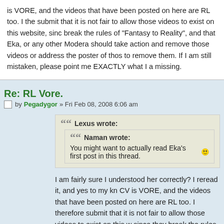is VORE, and the videos that have been posted on here are RL too. I therefore submit that it is not fair to allow those videos to exist on this website, since they break the rules of "Fantasy to Reality", and that Eka, or any other Moderator should take action and remove those videos or address the poster of those to remove them. If I am still mistaken, please point me EXACTLY what I am missing.
Re: RL Vore.
by Pegadygor » Fri Feb 08, 2008 6:06 am
Lexus wrote:
Naman wrote:
You might want to actually read Eka's first post in this thread.
I am fairly sure I understood her correctly? I reread it, and yes to my knowledge CV is VORE, and the videos that have been posted on here are RL too. I therefore submit that it is not fair to allow those videos to exist on this website, since they break the rules of "Fantasy to Reality", and that Eka, or any Moderator should take action and remove those videos or address the poster of those videos to remove them. If I am still mistaken, please point me EXACTLY what I am missing.
Where do we have a CV-video? I mean 'vore', not 'inserting something a